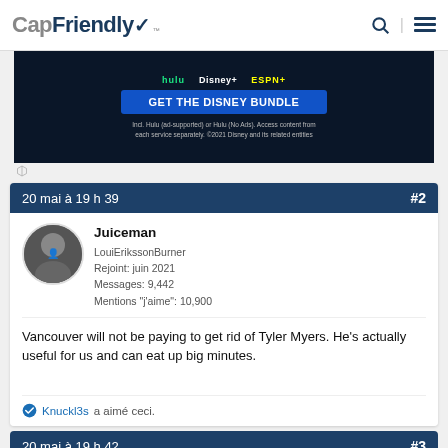CapFriendly
[Figure (screenshot): Disney Bundle advertisement banner with Hulu, Disney+, ESPN+ logos and GET THE DISNEY BUNDLE button]
20 mai à 19 h 39  #2
Juiceman
LouiErikssonBurner
Rejoint: juin 2021
Messages: 9,442
Mentions "j'aime": 10,900
Vancouver will not be paying to get rid of Tyler Myers. He's actually useful for us and can eat up big minutes.
Knuckl3s a aimé ceci.
20 mai à 19 h 42  #3